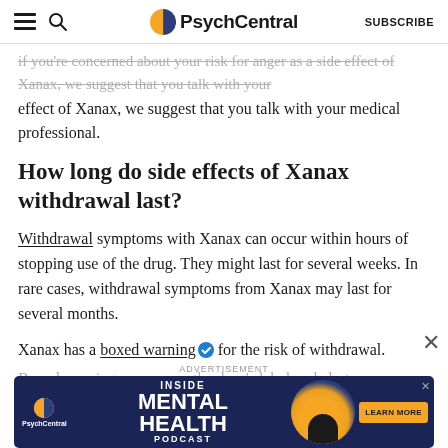PsychCentral | SUBSCRIBE
if you're concerned about your risk for anger as a side effect of Xanax, we suggest that you talk with your medical professional.
How long do side effects of Xanax withdrawal last?
Withdrawal symptoms with Xanax can occur within hours of stopping use of the drug. They might last for several weeks. In rare cases, withdrawal symptoms from Xanax may last for several months.
Xanax has a boxed warning for the risk of withdrawal. Boxed warnings appear on the drug's label and alert
[Figure (screenshot): PsychCentral advertisement banner for Inside Mental Health Podcast with orange and dark navy background]